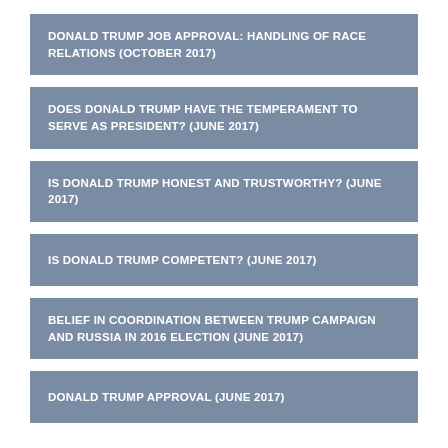DONALD TRUMP JOB APPROVAL: HANDLING OF RACE RELATIONS (OCTOBER 2017)
DOES DONALD TRUMP HAVE THE TEMPERAMENT TO SERVE AS PRESIDENT? (JUNE 2017)
IS DONALD TRUMP HONEST AND TRUSTWORTHY? (JUNE 2017)
IS DONALD TRUMP COMPETENT? (JUNE 2017)
BELIEF IN COORDINATION BETWEEN TRUMP CAMPAIGN AND RUSSIA IN 2016 ELECTION (JUNE 2017)
DONALD TRUMP APPROVAL (JUNE 2017)